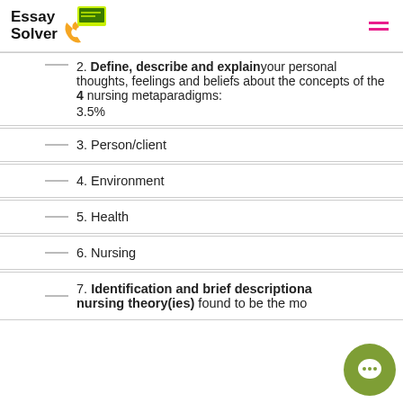Essay Solver
2. Define, describe and explain your personal thoughts, feelings and beliefs about the concepts of the 4 nursing metaparadigms: 3.5%
3. Person/client
4. Environment
5. Health
6. Nursing
7. Identification and brief descriptional nursing theory(ies) found to be the mo...